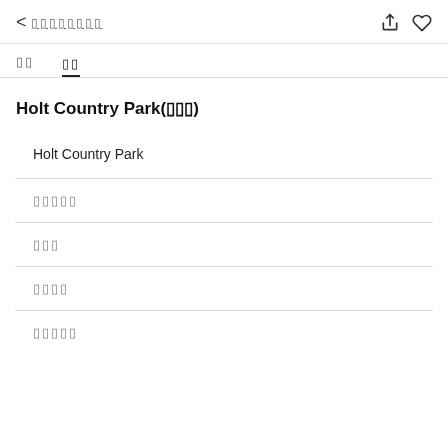< ▯▯▯▯▯▯▯▯
▯▯  ▯▯
Holt Country Park(▯▯▯)
| Holt Country Park |
| ▯▯▯▯▯ |
| ▯▯▯ |
| ▯▯▯▯ |
| ▯▯▯▯▯ |